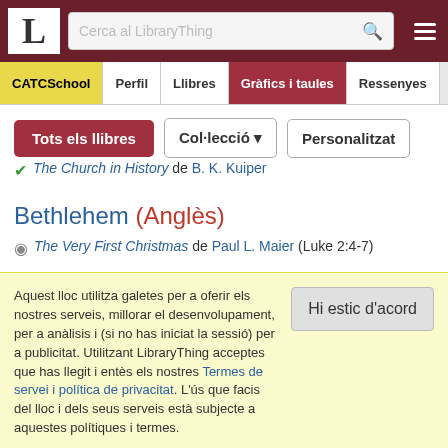L - Cerca al LibraryThing [search icon] [menu]
CATCSchool | Perfil | Llibres | Gràfics i taules | Ressenyes
Tots els llibres | Col·lecció ▼ | Personalitzat
✔ The Church in History de B. K. Kuiper
Bethlehem (Anglès)
⊙ The Very First Christmas de Paul L. Maier (Luke 2:4-7)
Boston, Massachusetts, USA (Anglès)
Aquest lloc utilitza galetes per a oferir els nostres serveis, millorar el desenvolupament, per a anàlisis i (si no has iniciat la sessió) per a publicitat. Utilitzant LibraryThing acceptes que has llegit i entès els nostres Termes de servei i política de privacitat. L'ús que facis del lloc i dels seus serveis està subjecte a aquestes polítiques i termes.
Hi estic d'acord